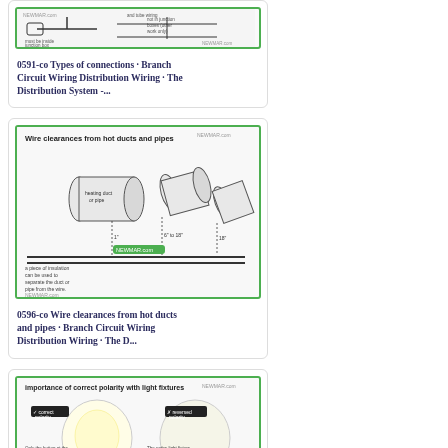[Figure (schematic): Diagram showing types of connections - Branch Circuit Wiring Distribution Wiring - junction box wiring connections with labels]
0591-co Types of connections · Branch Circuit Wiring Distribution Wiring · The Distribution System -...
[Figure (schematic): Wire clearances from hot ducts and pipes diagram showing insulation separation requirements with pipe and wire illustrations]
0596-co Wire clearances from hot ducts and pipes · Branch Circuit Wiring Distribution Wiring · The D...
[Figure (schematic): Importance of correct polarity with light fixtures diagram showing correct polarity vs reversed polarity with two light bulb illustrations]